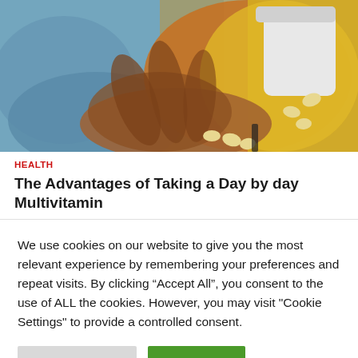[Figure (photo): A person in a yellow sweater pouring pills/vitamins from a white bottle into their open palm, close-up shot with blue background.]
HEALTH
The Advantages of Taking a Day by day Multivitamin
We use cookies on our website to give you the most relevant experience by remembering your preferences and repeat visits. By clicking “Accept All”, you consent to the use of ALL the cookies. However, you may visit "Cookie Settings" to provide a controlled consent.
Cookie Settings | Accept All